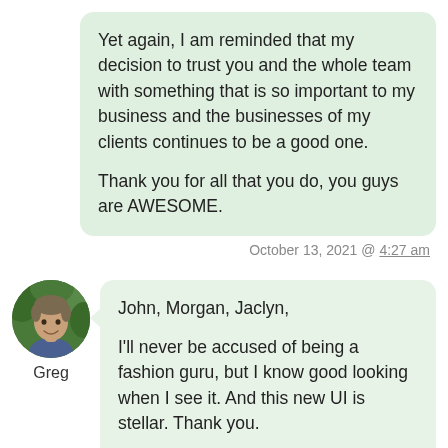Yet again, I am reminded that my decision to trust you and the whole team with something that is so important to my business and the businesses of my clients continues to be a good one.

Thank you for all that you do, you guys are AWESOME.
October 13, 2021 @ 4:27 am
[Figure (photo): Circular avatar photo of Greg, a man smiling outdoors with greenery in background]
Greg
John, Morgan, Jaclyn,

I'll never be accused of being a fashion guru, but I know good looking when I see it. And this new UI is stellar. Thank you.

I didn't know my “wardrobe” needed updating but apparently it did. You're always improving and